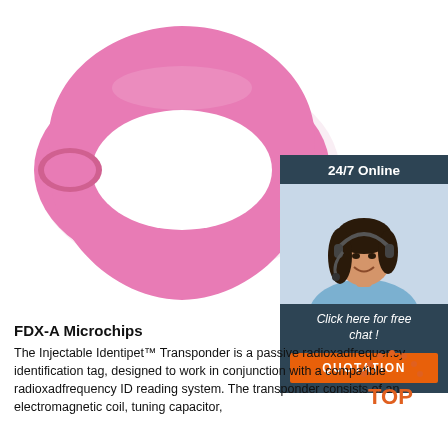[Figure (photo): Pink RFID silicone wristband with 'RFID))' text embossed, shown on white background]
[Figure (infographic): 24/7 Online chat widget with dark blue header, photo of woman with headset, italic text 'Click here for free chat!', and orange QUOTATION button]
FDX-A Microchips
[Figure (illustration): Orange dotted arch 'TOP' logo]
The Injectable Identipet™ Transponder is a passive radioxadfrequency identification tag, designed to work in conjunction with a compatible radioxadfrequency ID reading system. The transponder consists of an electromagnetic coil, tuning capacitor,